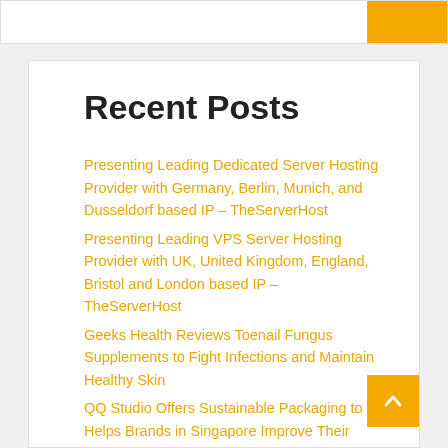Recent Posts
Presenting Leading Dedicated Server Hosting Provider with Germany, Berlin, Munich, and Dusseldorf based IP – TheServerHost
Presenting Leading VPS Server Hosting Provider with UK, United Kingdom, England, Bristol and London based IP – TheServerHost
Geeks Health Reviews Toenail Fungus Supplements to Fight Infections and Maintain Healthy Skin
QQ Studio Offers Sustainable Packaging to Helps Brands in Singapore Improve Their Businesses
Phillips & Associates, Inc. handles Madison County Insurance Claims with Professionalism to resolve Clients' ...